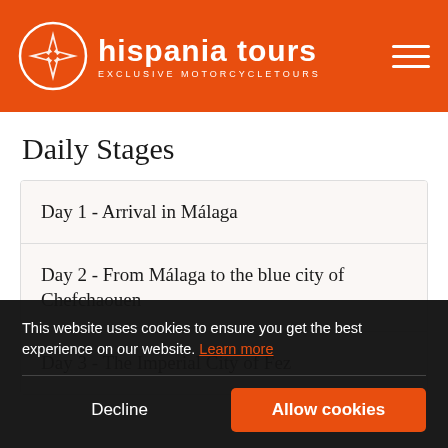hispania tours — EXCLUSIVE MOTORCYCLETOURS
Daily Stages
Day 1 - Arrival in Málaga
Day 2 - From Málaga to the blue city of Chefchaouen
Day 3 - The Imperial City of Fez
This website uses cookies to ensure you get the best experience on our website. Learn more
Decline
Allow cookies